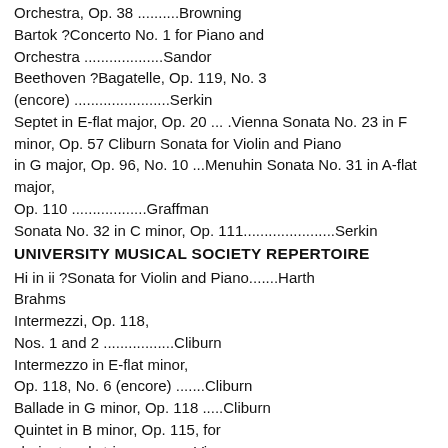Orchestra, Op. 38 ..........Browning
Bartok ?Concerto No. 1 for Piano and Orchestra ...................Sandor
Beethoven ?Bagatelle, Op. 119, No. 3 (encore) .......................Serkin
Septet in E-flat major, Op. 20 ... .Vienna Sonata No. 23 in F minor, Op. 57 Cliburn Sonata for Violin and Piano in G major, Op. 96, No. 10 ...Menuhin Sonata No. 31 in A-flat major,
Op. 110 ..................Graffman
Sonata No. 32 in C minor, Op. 111......................Serkin
UNIVERSITY MUSICAL SOCIETY REPERTOIRE
Hi in ii ?Sonata for Violin and Piano.......Harth
Brahms
Intermezzi, Op. 118,
Nos. 1 and 2 .................Cliburn
Intermezzo in E-flat minor,
Op. 118, No. 6 (encore) .......Cliburn
Ballade in G minor, Op. 118 .....Cliburn
Quintet in B minor, Op. 115, for clarinet and strings ............Vienna
Rhapsody in E-flat major, Op. 119, No. 4 (encore) ...............Serkin
Variations and Fugue on a Theme